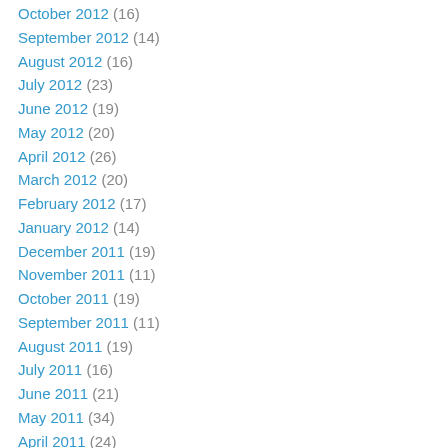October 2012 (16)
September 2012 (14)
August 2012 (16)
July 2012 (23)
June 2012 (19)
May 2012 (20)
April 2012 (26)
March 2012 (20)
February 2012 (17)
January 2012 (14)
December 2011 (19)
November 2011 (11)
October 2011 (19)
September 2011 (11)
August 2011 (19)
July 2011 (16)
June 2011 (21)
May 2011 (34)
April 2011 (24)
March 2011 (28)